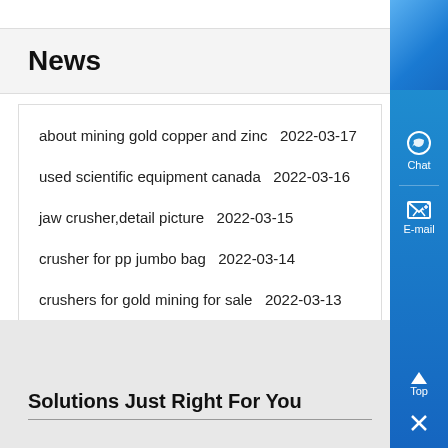News
about mining gold copper and zinc  2022-03-17
used scientific equipment canada  2022-03-16
jaw crusher,detail picture  2022-03-15
crusher for pp jumbo bag  2022-03-14
crushers for gold mining for sale  2022-03-13
Solutions Just Right For You